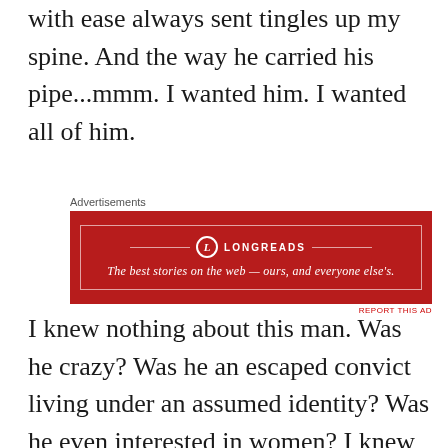with ease always sent tingles up my spine. And the way he carried his pipe...mmm. I wanted him. I wanted all of him.
[Figure (other): Longreads advertisement banner with red background. Logo with circle L icon, brand name LONGREADS, tagline: The best stories on the web — ours, and everyone else's.]
I knew nothing about this man. Was he crazy? Was he an escaped convict living under an assumed identity? Was he even interested in women? I knew nothing, but I wanted everything. I wanted to peel him out of those faded jeans. I wanted to bite around his strong thighs. I wanted to taste the sweat running down